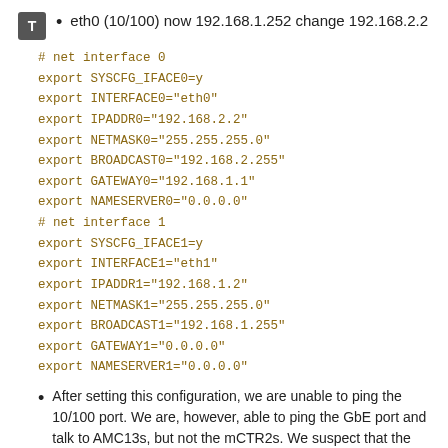eth0 (10/100) now 192.168.1.252 change 192.168.2.2
# net interface 0
export SYSCFG_IFACE0=y
export INTERFACE0="eth0"
export IPADDR0="192.168.2.2"
export NETMASK0="255.255.255.0"
export BROADCAST0="192.168.2.255"
export GATEWAY0="192.168.1.1"
export NAMESERVER0="0.0.0.0"
# net interface 1
export SYSCFG_IFACE1=y
export INTERFACE1="eth1"
export IPADDR1="192.168.1.2"
export NETMASK1="255.255.255.0"
export BROADCAST1="192.168.1.255"
export GATEWAY1="0.0.0.0"
export NAMESERVER1="0.0.0.0"
After setting this configuration, we are unable to ping the 10/100 port. We are, however, able to ping the GbE port and talk to AMC13s, but not the mCTR2s. We suspect that the MMC code for the mCTR2s is out of